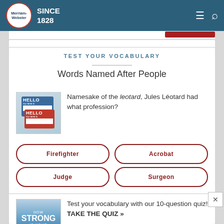Merriam-Webster SINCE 1828
TEST YOUR VOCABULARY
Words Named After People
Namesake of the leotard, Jules Léotard had what profession?
Firefighter
Acrobat
Judge
Surgeon
Test your vocabulary with our 10-question quiz! TAKE THE QUIZ »